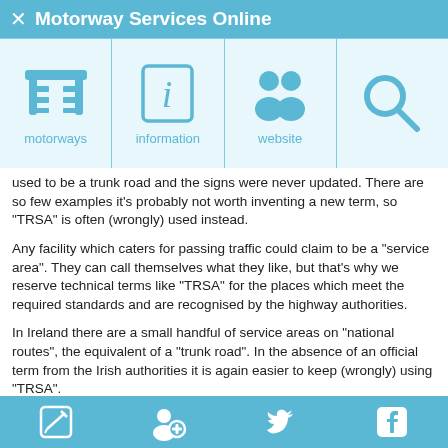Motorway Services Online
[Figure (infographic): Navigation icon row with four icons: motorways (highway sign icon), information (italic i in box), website (people/users icon), and search (magnifying glass icon), on a light blue background.]
used to be a trunk road and the signs were never updated. There are so few examples it's probably not worth inventing a new term, so "TRSA" is often (wrongly) used instead.
Any facility which caters for passing traffic could claim to be a "service area". They can call themselves what they like, but that's why we reserve technical terms like "TRSA" for the places which meet the required standards and are recognised by the highway authorities.
In Ireland there are a small handful of service areas on "national routes", the equivalent of a "trunk road". In the absence of an official term from the Irish authorities it is again easier to keep (wrongly) using "TRSA".
We are not the only ones to use these terms. Operator Moto frequently describes themselves as "a provider of MSAs and TRSAs". Likewise Applegreen UK say that they hold "MSA and TRSA assets".
Facilities and Regulations
Bottom navigation bar with edit, user/login, Twitter, and Facebook icons